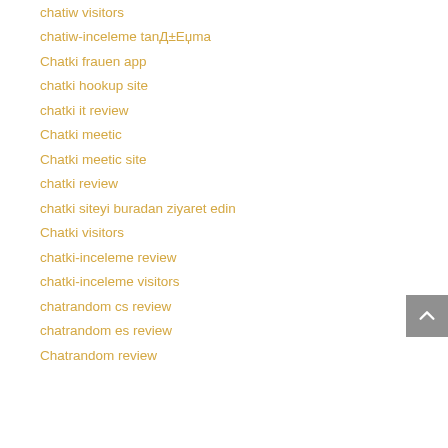chatiw visitors
chatiw-inceleme tanД±Еџma
Chatki frauen app
chatki hookup site
chatki it review
Chatki meetic
Chatki meetic site
chatki review
chatki siteyi buradan ziyaret edin
Chatki visitors
chatki-inceleme review
chatki-inceleme visitors
chatrandom cs review
chatrandom es review
Chatrandom review